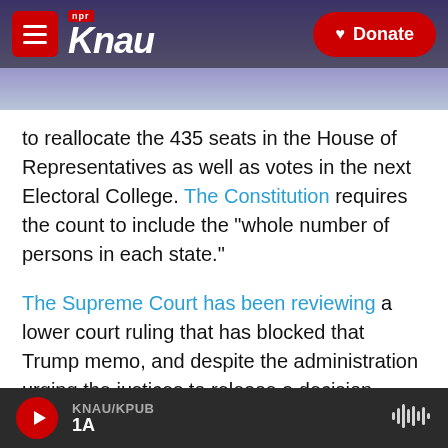KNAU NPR - Donate
to reallocate the 435 seats in the House of Representatives as well as votes in the next Electoral College. The Constitution requires the count to include the "whole number of persons in each state."
The Supreme Court has been reviewing a lower court ruling that has blocked that Trump memo, and despite the administration urging the justices to release a decision soon, the high court did not do so on Monday, its last scheduled day for releasing rulings this year.
KNAU/KPUB 1A